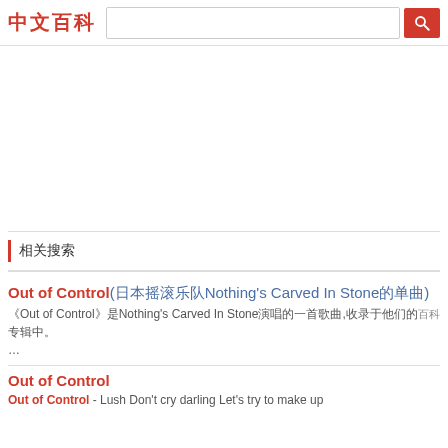中文百科 [search bar] [search button]
[Figure (other): Advertisement area (blank white space)]
相关搜索
Out of Control(日本摇滚乐队Nothing's Carved In Stone的单曲)
《Out of Control》是Nothing's Carved In Stone演唱的一首歌曲,收录于他们的专辑「」中。「」...
Out of Control
Out of Control - Lush Don't cry darling Let's try to make up